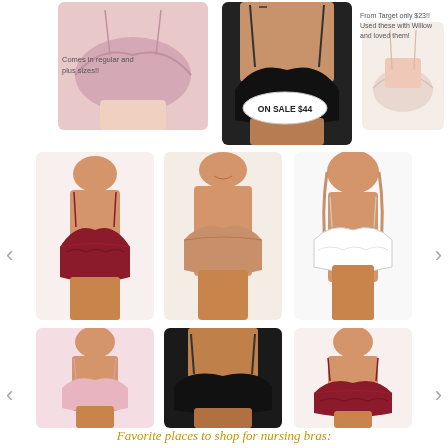[Figure (photo): Top row of three nursing bras: pink bralette (left), black underwire bra (center), light pink bra (right). Annotations on the images: 'Comes in regular and plus sizes!!' on pink bra, 'From Target only $23!! Used these with Willow and loved them!' near right bra, 'ON SALE $44' bubble on black bra.]
[Figure (photo): Middle row of three nursing bras: maroon lace underwire bra (left), nude/beige smooth bra (center), white lace bralette (right). Navigation arrows on left and right sides.]
[Figure (photo): Bottom row of three nursing bras: soft pink bralette (left), black underwire bra (center), maroon lace underwire bra (right). Navigation arrows on left and right sides.]
Favorite places to shop for nursing bras: